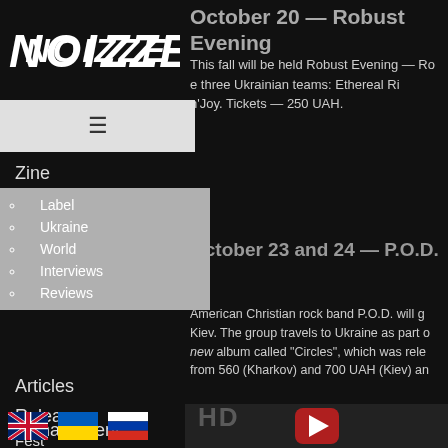[Figure (logo): NOIZZ website logo in stylized white italic text on black background]
October 20 — Robust Evening
This fall will be held Robust Evening — Ro... three Ukrainian teams: Ethereal Ri... n'Joy. Tickets — 250 UAH.
October 23 and 24 — P.O.D.
American Christian rock band P.O.D. will g... Kiev. The group travels to Ukraine as part o... new album called "Circles", which was rele... from 560 (Kharkov) and 700 UAH (Kiev) an...
Zine
Label
Ukraine
World
Interviews
Reviews
Articles
Releases
Management
Fest
About
[Figure (screenshot): YouTube video embed showing P.O.D. - Youth of the ... with Rhino Records logo and red play button]